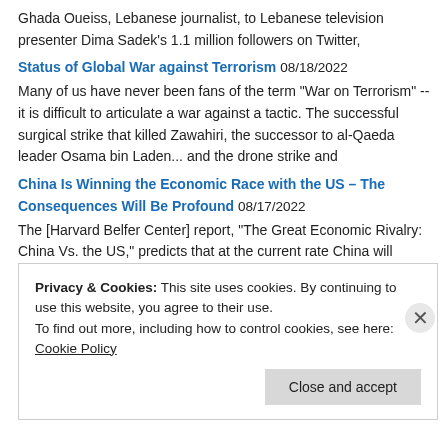Ghada Oueiss, Lebanese journalist, to Lebanese television presenter Dima Sadek's 1.1 million followers on Twitter,
Status of Global War against Terrorism 08/18/2022
Many of us have never been fans of the term "War on Terrorism" -- it is difficult to articulate a war against a tactic. The successful surgical strike that killed Zawahiri, the successor to al-Qaeda leader Osama bin Laden... and the drone strike and
China Is Winning the Economic Race with the US – The Consequences Will Be Profound 08/17/2022
The [Harvard Belfer Center] report, "The Great Economic Rivalry: China Vs. the US," predicts that at the current rate China will overtake the US economically within a decade. When it comes to trade, China has now displaced the US. "When this century
Privacy & Cookies: This site uses cookies. By continuing to use this website, you agree to their use.
To find out more, including how to control cookies, see here: Cookie Policy